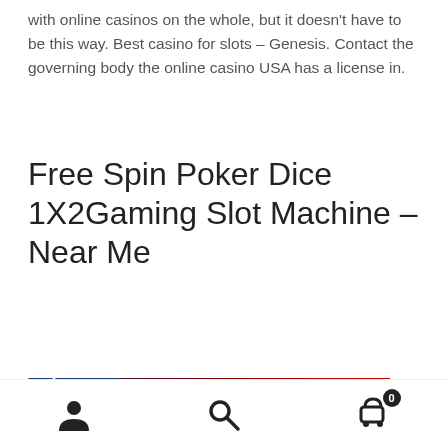with online casinos on the whole, but it doesn't have to be this way. Best casino for slots – Genesis. Contact the governing body the online casino USA has a license in.
Free Spin Poker Dice 1X2Gaming Slot Machine – Near Me
[Figure (photo): Banner image for Wild Dragon slot machine by Amatic. Features a yellow/gold dragon on a red background with green outlines and the text 'WILD DRAGON' in large gold letters with a green outline. The top-left has a blue triangle corner with 'AMATIC' text.]
Navigation footer with user account icon, search icon, and shopping cart icon with badge showing 0